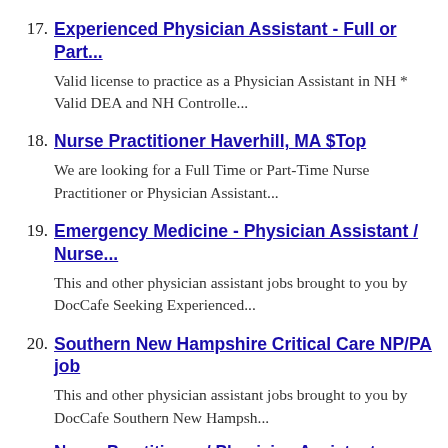17. Experienced Physician Assistant - Full or Part...
Valid license to practice as a Physician Assistant in NH * Valid DEA and NH Controlle...
18. Nurse Practitioner Haverhill, MA $Top
We are looking for a Full Time or Part-Time Nurse Practitioner or Physician Assistant...
19. Emergency Medicine - Physician Assistant / Nurse...
This and other physician assistant jobs brought to you by DocCafe Seeking Experienced...
20. Southern New Hampshire Critical Care NP/PA job
This and other physician assistant jobs brought to you by DocCafe Southern New Hampsh...
Nurse Practitioner / Physician Assistant...